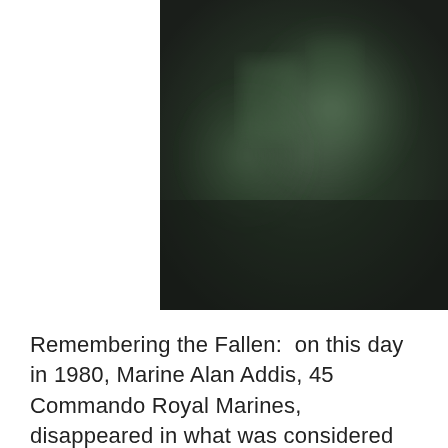[Figure (photo): Dark, blurry photograph with muted green and dark tones, partially cropped at the top of the page]
Remembering the Fallen:  on this day in 1980, Marine Alan Addis, 45 Commando Royal Marines, disappeared in what was considered to be mysterious circumstances while serving with the Royal Marines in the Falkland Islands.
An only child, he had joined the Royal Marines because, according to a close friend, he wanted to prove that he was tough enough.  He was a young man